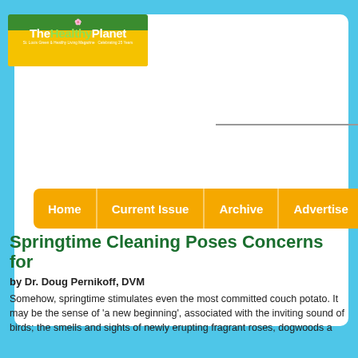[Figure (logo): The Healthy Planet magazine logo with sunflower background]
[Figure (infographic): Website navigation bar with Home, Current Issue, Archive, Advertise links on orange/amber background]
Springtime Cleaning Poses Concerns for
by Dr. Doug Pernikoff, DVM
Somehow, springtime stimulates even the most committed couch potato. It may be the sense of 'a new beginning', associated with the inviting sound of birds; the smells and sights of newly erupting fragrant roses, dogwoods a